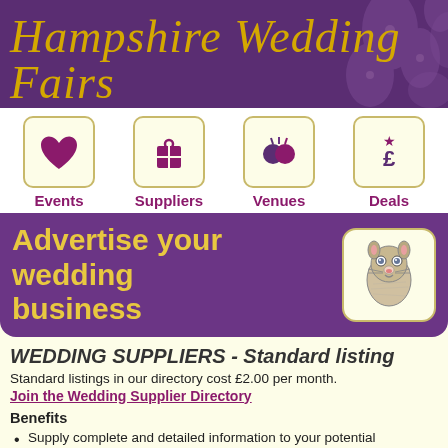Hampshire Wedding Fairs
[Figure (logo): Hampshire Wedding Fairs ornate script logo on purple damask background]
[Figure (infographic): Navigation row with four icon boxes: Events (heart icon), Suppliers (gift box icon), Venues (balloons icon), Deals (star and pound sign icon)]
Advertise your wedding business
[Figure (illustration): Cartoon ferret/meerkat mascot illustration in a rounded square frame]
WEDDING SUPPLIERS - Standard listing
Standard listings in our directory cost £2.00 per month.
Join the Wedding Supplier Directory
Benefits
Supply complete and detailed information to your potential customers.
Speedy search results, means our users are more likely to perform multiple searches using our directory.
Excellent search engine coverage, as you can see if you use a search engine to list pages referenced from our site.
Our visitors are generally at the early stages of planning their weddings,